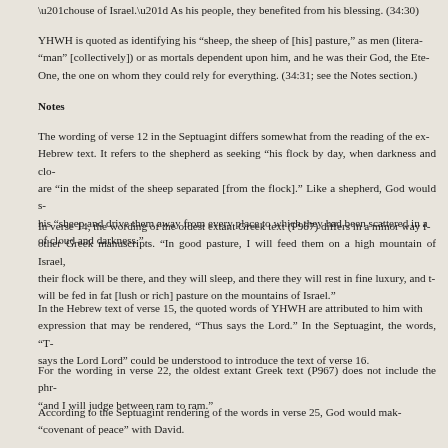“house of Israel.” As his people, they benefited from his blessing. (34:30)
YHWH is quoted as identifying his “sheep, the sheep of [his] pasture,” as men (literally “man” [collectively]) or as mortals dependent upon him, and he was their God, the Eternal One, the one on whom they could rely for everything. (34:31; see the Notes section.)
Notes
The wording of verse 12 in the Septuagint differs somewhat from the reading of the extant Hebrew text. It refers to the shepherd as seeking “his flock by day, when darkness and clouds are “in the midst of the sheep separated [from the flock].” Like a shepherd, God would seek his “sheep and drive them away from every place to which they had been scattered in a day of cloud and darkness.”
In verse 14, the wording of the oldest extant Greek text (P967) differs in a minor way from other Greek manuscripts. “In good pasture, I will feed them on a high mountain of Israel, and their flock will be there, and they will sleep, and there they will rest in fine luxury, and they will be fed in fat [lush or rich] pasture on the mountains of Israel.”
In the Hebrew text of verse 15, the quoted words of YHWH are attributed to him with an expression that may be rendered, “Thus says the Lord.” In the Septuagint, the words, “Thus says the Lord Lord” could be understood to introduce the text of verse 16.
For the wording in verse 22, the oldest extant Greek text (P967) does not include the phrase “and I will judge between ram to ram.”
According to the Septuagint rendering of the words in verse 25, God would make a “covenant of peace” with David.